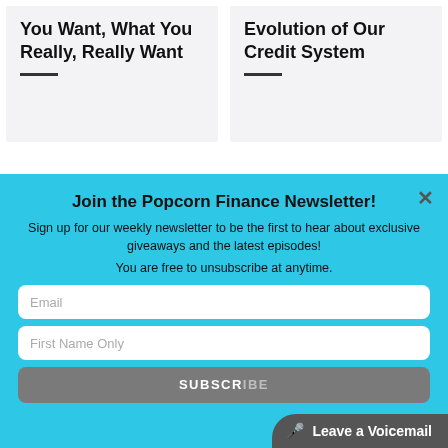You Want, What You Really, Really Want
Evolution of Our Credit System
Join the Popcorn Finance Newsletter!
Sign up for our weekly newsletter to be the first to hear about exclusive giveaways and the latest episodes!
You are free to unsubscribe at anytime.
SUBSCRIBE